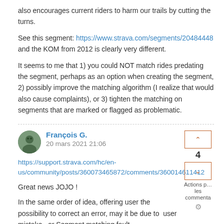also encourages current riders to harm our trails by cutting the turns.
See this segment: https://www.strava.com/segments/20484448 and the KOM from 2012 is clearly very different.
It seems to me that 1) you could NOT match rides predating the segment, perhaps as an option when creating the segment, 2) possibly improve the matching algorithm (I realize that would also cause complaints), or 3) tighten the matching on segments that are marked or flagged as problematic.
François G.
20 mars 2021 21:06
https://support.strava.com/hc/en-us/community/posts/360073465872/comments/360014611412
Great news JOJO !
In the same order of idea, offering user the possibility to correct an error, may it be due to user mistake...or Segment matching fault. Would you consider offering a way to "Abdicate" a KOM title ?